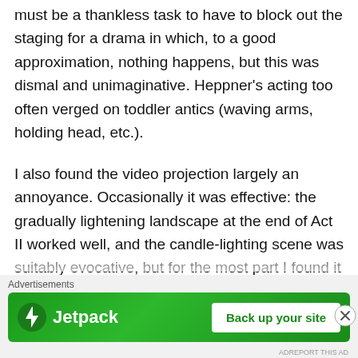must be a thankless task to have to block out the staging for a drama in which, to a good approximation, nothing happens, but this was dismal and unimaginative. Heppner's acting too often verged on toddler antics (waving arms, holding head, etc.).
I also found the video projection largely an annoyance. Occasionally it was effective: the gradually lightening landscape at the end of Act II worked well, and the candle-lighting scene was suitably evocative, but for the most part I found it too pushy, adding a distracting layer of interpretation to the drama rather than allowing
Advertisements
[Figure (other): Jetpack advertisement banner with green gradient background, Jetpack logo with lightning bolt icon on the left, and a white 'Back up your site' button on the right]